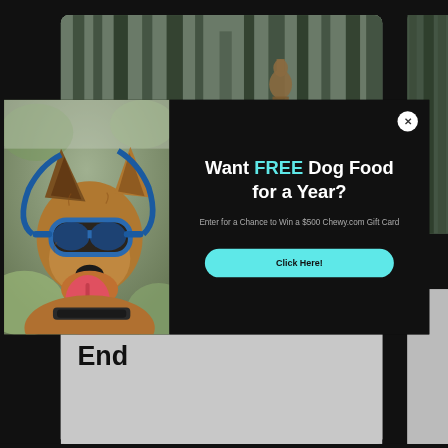[Figure (photo): Background webpage showing a forest scene with a person jumping, partially visible card layout with dark background]
[Figure (photo): Popup modal: left side shows a German Shepherd dog wearing blue goggles with tongue out in outdoor setting; right side has dark background with promotional text]
Want FREE Dog Food for a Year?
Enter for a Chance to Win a $500 Chewy.com Gift Card
Click Here!
Go Full-Send for Summer's End